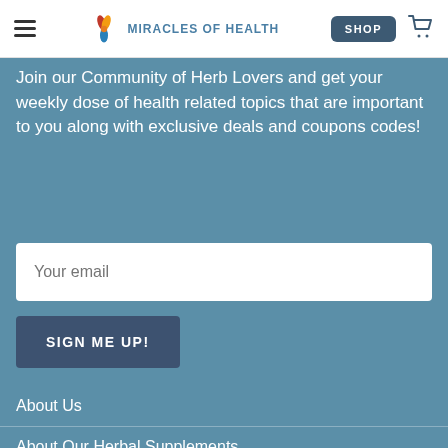MIRACLES OF HEALTH
Join our Community of Herb Lovers and get your weekly dose of health related topics that are important to you along with exclusive deals and coupons codes!
Your email
SIGN ME UP!
About Us
About Our Herbal Supplements
About Our Hemp Products
BioHealing Sessions